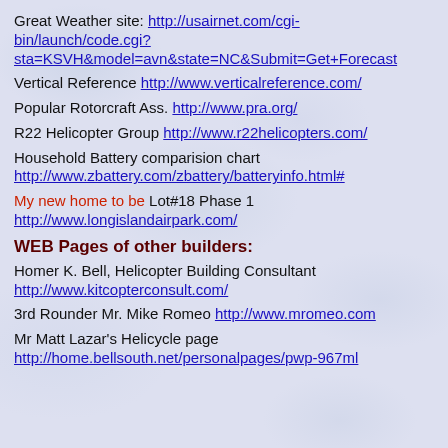Great Weather site: http://usairnet.com/cgi-bin/launch/code.cgi?sta=KSVH&model=avn&state=NC&Submit=Get+Forecast
Vertical Reference http://www.verticalreference.com/
Popular Rotorcraft Ass. http://www.pra.org/
R22 Helicopter Group http://www.r22helicopters.com/
Household Battery comparision chart http://www.zbattery.com/zbattery/batteryinfo.html#
My new home to be Lot#18 Phase 1 http://www.longislandairpark.com/
WEB Pages of other builders:
Homer K. Bell, Helicopter Building Consultant http://www.kitcopterconsult.com/
3rd Rounder Mr. Mike Romeo http://www.mromeo.com
Mr Matt Lazar's Helicycle page http://home.bellsouth.net/personalpages/pwp-967ml